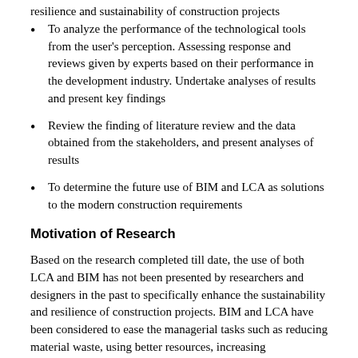resilience and sustainability of construction projects
To analyze the performance of the technological tools from the user's perception. Assessing response and reviews given by experts based on their performance in the development industry. Undertake analyses of results and present key findings
Review the finding of literature review and the data obtained from the stakeholders, and present analyses of results
To determine the future use of BIM and LCA as solutions to the modern construction requirements
Motivation of Research
Based on the research completed till date, the use of both LCA and BIM has not been presented by researchers and designers in the past to specifically enhance the sustainability and resilience of construction projects. BIM and LCA have been considered to ease the managerial tasks such as reducing material waste, using better resources, increasing sustainability in general and also sometimes improving the environment by doing so.
This research paper aims to take this study a step ahead and